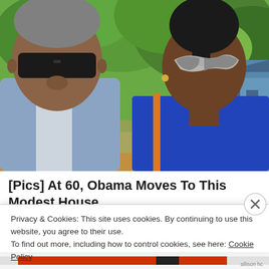[Figure (photo): Two people wearing sunglasses standing outdoors with green trees and a blue building in the background. Man on left wearing blue checkered shirt, woman on right wearing blue top with orange strap.]
[Pics] At 60, Obama Moves To This Modest House,
Privacy & Cookies: This site uses cookies. By continuing to use this website, you agree to their use.
To find out more, including how to control cookies, see here: Cookie Policy
Close and accept